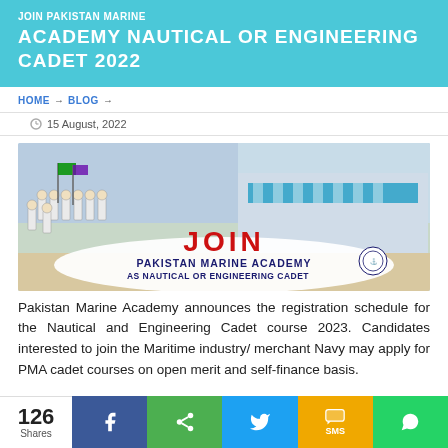JOIN PAKISTAN MARINE ACADEMY NAUTICAL OR ENGINEERING CADET 2022
HOME → BLOG →
15 August, 2022
[Figure (photo): Pakistan Marine Academy promotional image showing cadets in white uniforms marching, with text: JOIN PAKISTAN MARINE ACADEMY AS NAUTICAL OR ENGINEERING CADET]
Pakistan Marine Academy announces the registration schedule for the Nautical and Engineering Cadet course 2023. Candidates interested to join the Maritime industry/ merchant Navy may apply for PMA cadet courses on open merit and self-finance basis.
126 Shares | Facebook | Share | Twitter | SMS | WhatsApp